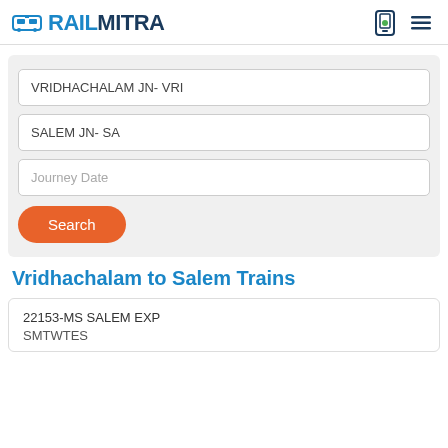RAILMITRA
VRIDHACHALAM JN- VRI
SALEM JN- SA
Journey Date
Search
Vridhachalam to Salem Trains
22153-MS SALEM EXP
SMTWTES